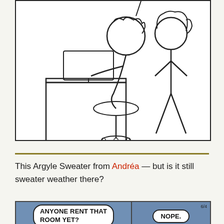[Figure (illustration): Stick figure comic panel showing two characters: one seated at a desk using a laptop on a office chair, and one standing figure with hair, both drawn in simple black line art on white background (Argyle Sweater style comic strip).]
This Argyle Sweater from Andréa — but is it still sweater weather there?
[Figure (illustration): Comic panel with blue background divided into two sections. Left panel shows speech bubble saying 'ANYONE RENT THAT ROOM YET?' and right panel shows speech bubble saying 'NOPE.' with date marker 6/4.]